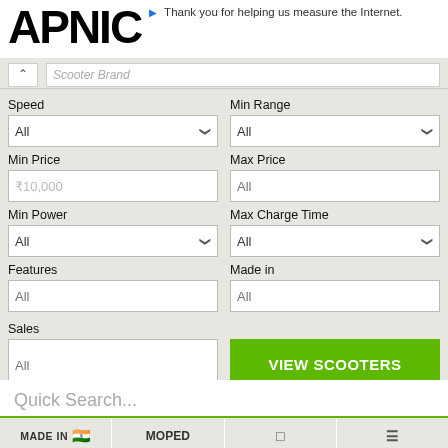APNIC — Thank you for helping us measure the Internet.
Scooter Brand (truncated, partially visible)
Speed
Min Range
Min Price | ₹10,000
Max Price | All
Min Power
Max Charge Time
Features
Made in
Sales
VIEW SCOOTERS
Quick Search...
MADE IN | MOPED